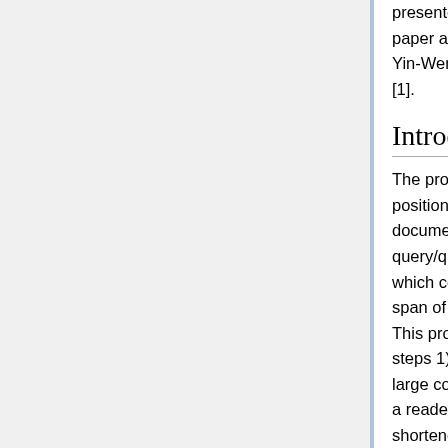presented at ICLR 2020. The authors of this paper are Wei-Cheng Chang, Felix X. Yu, Yin-Wen Chang, Yiming Yang, Sanjiv Kumar [1].
Introduction
The problem domain which the paper is positioned within is large-scale query-document retrieval. This problem is: given a query/question to collect relevant documents which contain the answer(s) and identify the span of words which contain the answer(s). This problem is often separated into two steps 1) a retrieval phase which reduces a large corpus to a much smaller subset and 2) a reader which is applied to read the shortened list of documents and score them based on their ability to answer the query and identify the span containing